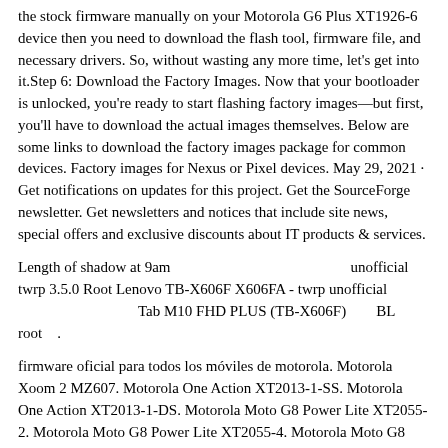the stock firmware manually on your Motorola G6 Plus XT1926-6 device then you need to download the flash tool, firmware file, and necessary drivers. So, without wasting any more time, let's get into it.Step 6: Download the Factory Images. Now that your bootloader is unlocked, you're ready to start flashing factory images—but first, you'll have to download the actual images themselves. Below are some links to download the factory images package for common devices. Factory images for Nexus or Pixel devices. May 29, 2021 · Get notifications on updates for this project. Get the SourceForge newsletter. Get newsletters and notices that include site news, special offers and exclusive discounts about IT products & services.
Length of shadow at 9am　　　　　　　　　　　　unofficial twrp 3.5.0 Root Lenovo TB-X606F X606FA - twrp unofficial 　　　　　　　　Tab M10 FHD PLUS (TB-X606F)　　BL　　root　.
firmware oficial para todos los móviles de motorola. Motorola Xoom 2 MZ607. Motorola One Action XT2013-1-SS. Motorola One Action XT2013-1-DS. Motorola Moto G8 Power Lite XT2055-2. Motorola Moto G8 Power Lite XT2055-4. Motorola Moto G8 Power XT2041-1. Motorola Moto G8 Power XT2041-3. Motorola Moto G8 Power XT2041-4. Somente Stock Roms | Firmwares Motorola / Lenovo. Para localizar uma Firmware, Digite o Modelo na Caixa de Pesquisa. Ex: XT1922-5, as Firmwares serão Exareção Selecionadas Official Manualmente